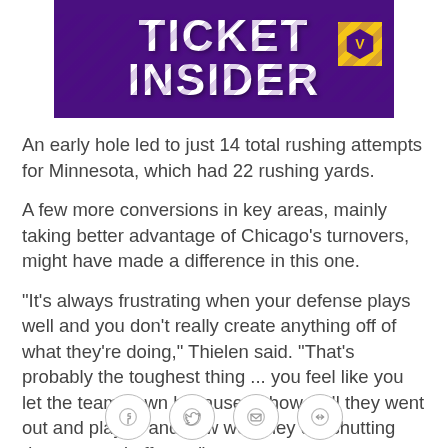[Figure (illustration): Minnesota Vikings Ticket Insider banner with purple background, bold white text reading TICKET INSIDER, and a Vikings logo badge in the top right corner]
An early hole led to just 14 total rushing attempts for Minnesota, which had 22 rushing yards.
A few more conversions in key areas, mainly taking better advantage of Chicago's turnovers, might have made a difference in this one.
"It's always frustrating when your defense plays well and you don't really create anything off of what they're doing," Thielen said. "That's probably the toughest thing ... you feel like you let the team down because of how well they went out and played and how well they did shutting down a good offense."
[Figure (other): Social sharing icons row: Facebook, Twitter, Email, Link]